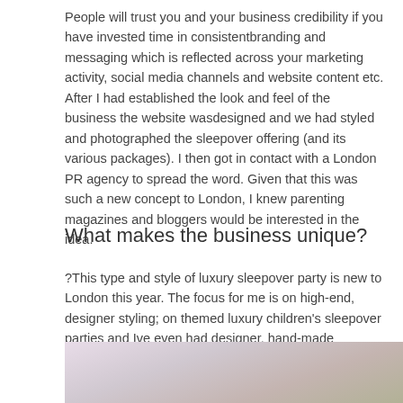People will trust you and your business credibility if you have invested time in consistentbranding and messaging which is reflected across your marketing activity, social media channels and website content etc. After I had established the look and feel of the business the website wasdesigned and we had styled and photographed the sleepover offering (and its various packages). I then got in contact with a London PR agency to spread the word. Given that this was such a new concept to London, I knew parenting magazines and bloggers would be interested in the idea.
What makes the business unique?
?This type and style of luxury sleepover party is new to London this year. The focus for me is on high-end, designer styling; on themed luxury children's sleepover parties and Ive even had designer, hand-made Teepees made to give the parties
[Figure (photo): Partial image of sleepover party setup, showing blurred colors of pink, white, and green/olive tones. Bottom portion of a photograph cut off at page edge.]